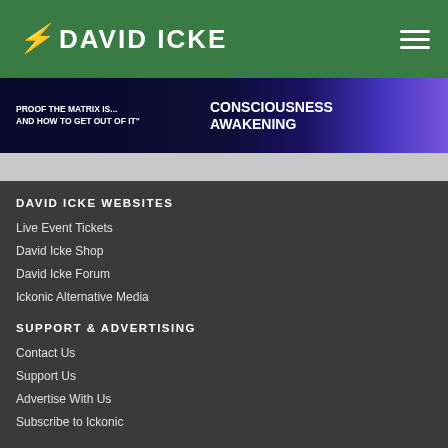DAVID ICKE
[Figure (screenshot): Banner image with text: PROOF THE MATRIX IS... AND HOW TO GET OUT OF IT / CONSCIOUSNESS AWAKENING on dark blue/purple background with abstract brain imagery]
DAVID ICKE WEBSITES
Live Event Tickets
David Icke Shop
David Icke Forum
Ickonic Alternative Media
SUPPORT & ADVERTISING
Contact Us
Support Us
Advertise With Us
Subscribe to Ickonic